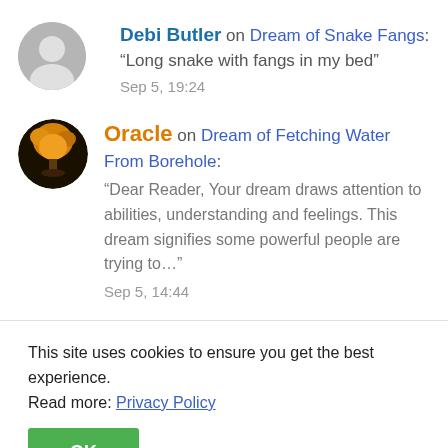Debi Butler on Dream of Snake Fangs: "Long snake with fangs in my bed"
Sep 5, 19:24
Oracle on Dream of Fetching Water From Borehole:
"Dear Reader, Your dream draws attention to abilities, understanding and feelings. This dream signifies some powerful people are trying to…"
Sep 5, 14:44
This site uses cookies to ensure you get the best experience. Read more: Privacy Policy
OK